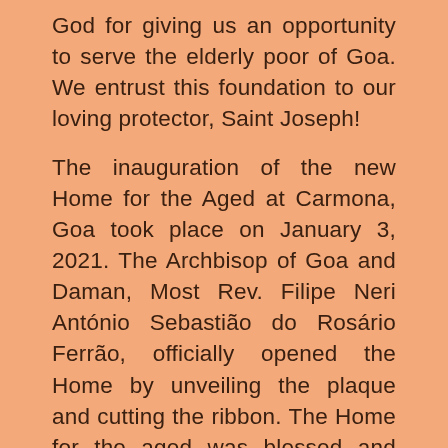God for giving us an opportunity to serve the elderly poor of Goa. We entrust this foundation to our loving protector, Saint Joseph!

The inauguration of the new Home for the Aged at Carmona, Goa took place on January 3, 2021. The Archbisop of Goa and Daman, Most Rev. Filipe Neri António Sebastião do Rosário Ferrão, officially opened the Home by unveiling the plaque and cutting the ribbon. The Home for the aged was blessed and inaugurated. The